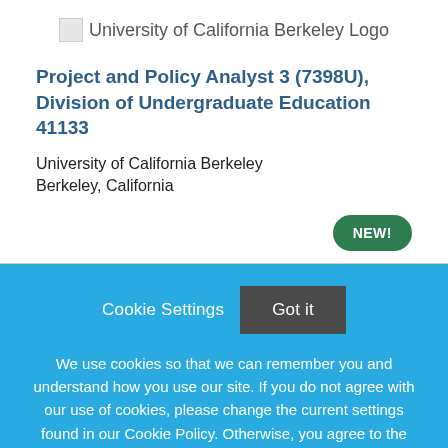[Figure (logo): University of California Berkeley Logo]
Project and Policy Analyst 3 (7398U), Division of Undergraduate Education 41133
University of California Berkeley
Berkeley, California
[Figure (other): NEW! badge (green rounded pill)]
Cookie Settings   Got it
We use cookies so that we can remember you and understand how you use our site. If you do not agree with our use of cookies, please change the current settings found in our Cookie Policy. Otherwise, you agree to the use of the cookies as they are currently set.